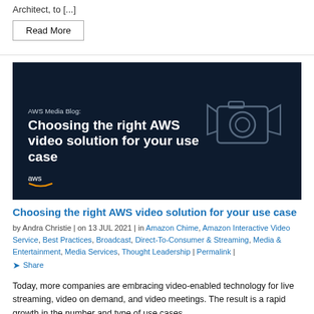Architect, to [...]
Read More
[Figure (screenshot): AWS Media Blog promotional image with dark navy background showing text 'AWS Media Blog: Choosing the right AWS video solution for your use case' in white bold text, with a camera icon on the right and the AWS logo with orange smile at the bottom left.]
Choosing the right AWS video solution for your use case
by Andra Christie | on 13 JUL 2021 | in Amazon Chime, Amazon Interactive Video Service, Best Practices, Broadcast, Direct-To-Consumer & Streaming, Media & Entertainment, Media Services, Thought Leadership | Permalink | Share
Today, more companies are embracing video-enabled technology for live streaming, video on demand, and video meetings. The result is a rapid growth in the number and type of use cases